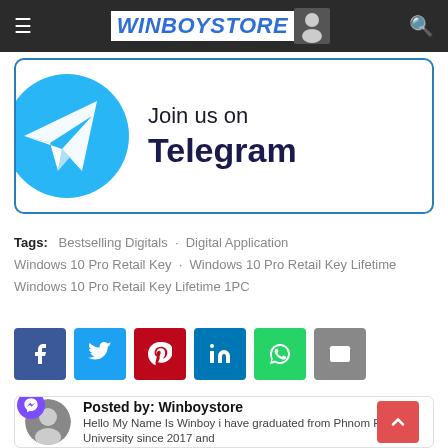WINBOYSTORE
[Figure (infographic): Join us on Telegram banner with Telegram logo circle and text]
Tags: Bestselling Digitals · Digital Application · Windows 10 Pro Retail Key · Windows 10 Pro Retail Key Lifetime · Windows 10 Pro Retail Key Lifetime 1PC
[Figure (infographic): Social sharing buttons: Facebook, Twitter, Pinterest, LinkedIn, WhatsApp, Email]
Posted by: Winboystore
Hello My Name Is Winboy i have graduated from Phnom Penh University since 2017 and